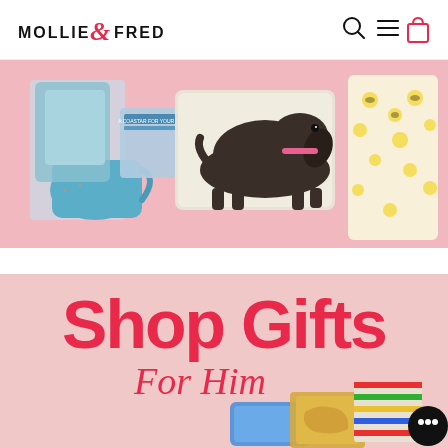[Figure (logo): Mollie & Fred logo with ampersand in red/pink serif script]
[Figure (screenshot): Navigation icons: search (magnifying glass), hamburger menu, and shopping bag in pink outline]
[Figure (photo): Banner image showing gifts: a blue mug, coasters packaging, a dachshund dog cushion/pillow, and a floral/bee oven mitt on a pink background]
[Figure (infographic): Shop Gifts For Him promotional banner on pink background with product images including blue silicon tray, map print, and striped item]